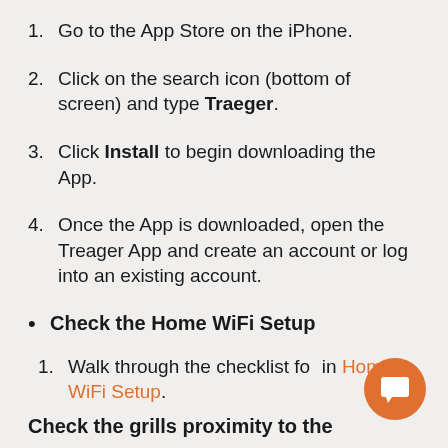1. Go to the App Store on the iPhone.
2. Click on the search icon (bottom of screen) and type Traeger.
3. Click Install to begin downloading the App.
4. Once the App is downloaded, open the Treager App and create an account or log into an existing account.
Check the Home WiFi Setup
1. Walk through the checklist found in Home WiFi Setup.
Check the grills proximity to the